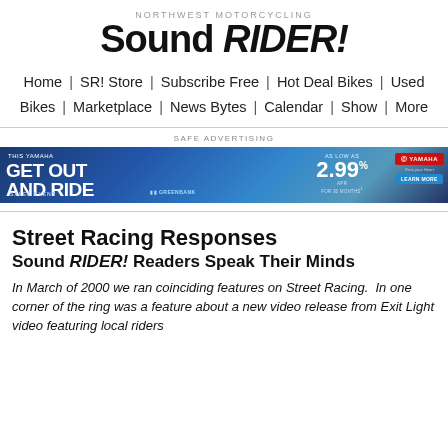NORTHWEST MOTORCYCLING Sound RIDER!
Home | SR! Store | Subscribe Free | Hot Deal Bikes | Used Bikes | Marketplace | News Bytes | Calendar | Show | More
SAFE ADVERTISING
[Figure (photo): Yamaha 'Get Out And Rise' sales event advertisement banner featuring motorcycles and riders with text '2.99% APR for 36 months' and Yamaha logo with Learn More button]
Street Racing Responses
Sound RIDER! Readers Speak Their Minds
In March of 2000 we ran coinciding features on Street Racing. In one corner of the ring was a feature about a new video release from Exit Light video featuring local riders